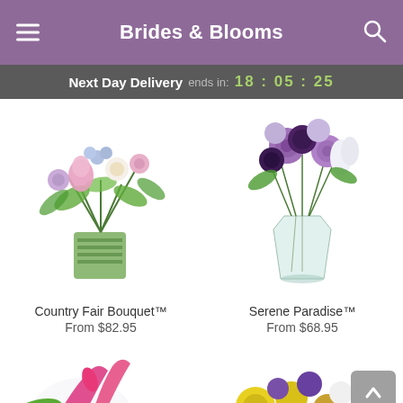Brides & Blooms
Next Day Delivery ends in: 18:05:25
[Figure (photo): Country Fair Bouquet flower arrangement in a square striped green vase with pink, white, and light purple flowers]
Country Fair Bouquet™
From $82.95
[Figure (photo): Serene Paradise flower arrangement in a tall clear vase with purple roses, dark purple mums, white tulips, and light purple flowers]
Serene Paradise™
From $68.95
[Figure (photo): Partial view of a pink lily floral arrangement at the bottom left]
[Figure (photo): Partial view of a yellow and purple floral arrangement at the bottom right]